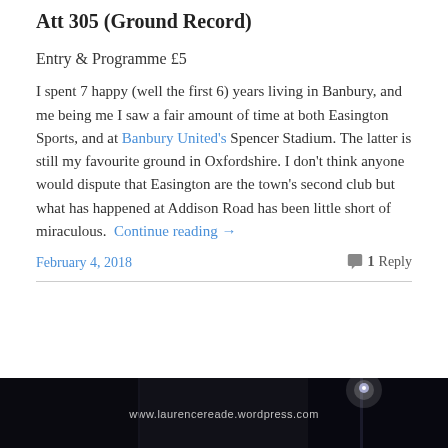Att 305 (Ground Record)
Entry & Programme £5
I spent 7 happy (well the first 6) years living in Banbury, and me being me I saw a fair amount of time at both Easington Sports, and at Banbury United's Spencer Stadium. The latter is still my favourite ground in Oxfordshire. I don't think anyone would dispute that Easington are the town's second club but what has happened at Addison Road has been little short of miraculous.  Continue reading →
February 4, 2018
1 Reply
[Figure (photo): Dark photo showing a floodlight against a night sky, with website URL www.laurencereade.wordpress.com visible]